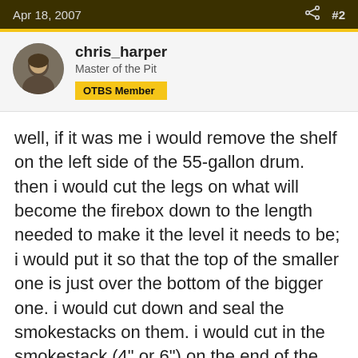Apr 18, 2007  #2
chris_harper
Master of the Pit
OTBS Member
well, if it was me i would remove the shelf on the left side of the 55-gallon drum. then i would cut the legs on what will become the firebox down to the length needed to make it the level it needs to be; i would put it so that the top of the smaller one is just over the bottom of the bigger one. i would cut down and seal the smokestacks on them. i would cut in the smokestack (4" or 6") on the end of the 55-gallon, on the end, just under the food rack. i would cut in a 6"
hole to join them, under the food rack a few inches (2" or 3" should work). i would weld in a plate (1/8" thick,